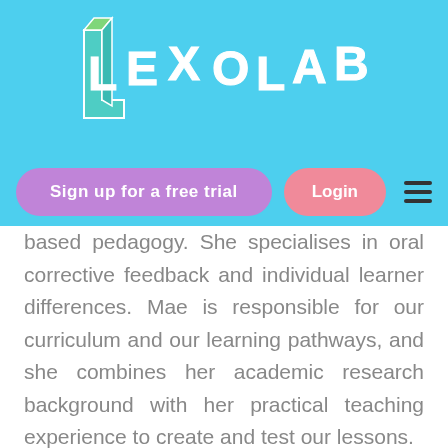[Figure (logo): Lexo Lab 3D isometric logo with green and teal block letters on a sky blue background]
[Figure (other): Navigation bar with purple 'Sign up for a free trial' button, pink 'Login' button, and hamburger menu icon on sky blue background]
based pedagogy. She specialises in oral corrective feedback and individual learner differences. Mae is responsible for our curriculum and our learning pathways, and she combines her academic research background with her practical teaching experience to create and test our lessons.